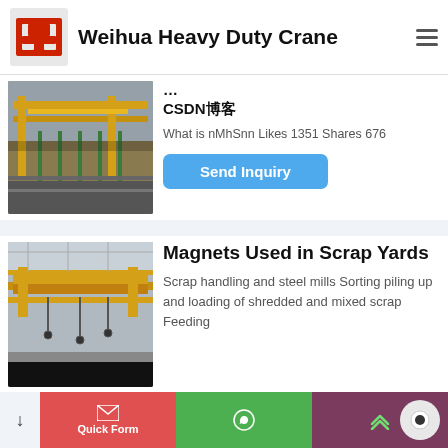Weihua Heavy Duty Crane
[Figure (photo): Yellow heavy-duty overhead crane in an industrial facility with green structural supports and steel materials]
CSDN博客
What is nMhSnn Likes 1351 Shares 676
Send Inquiry
Magnets Used in Scrap Yards
[Figure (photo): Yellow overhead crane inside a large industrial warehouse/mill facility]
Scrap handling and steel mills Sorting piling up and loading of shredded and mixed scrap Feeding
Quick Form